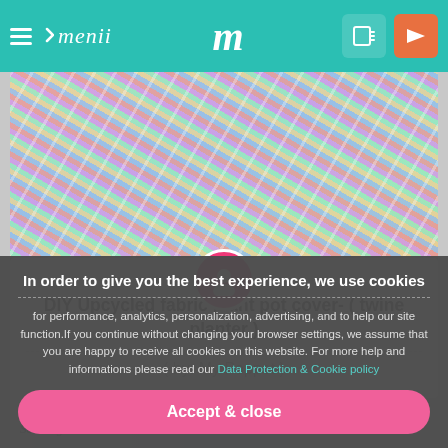menii m
[Figure (photo): Colorful woven/crocheted fabric plant pot cover made from upcycled fabric strips and twine, shown on a surface with craft materials]
DIY Upcycled fabric plant pot cover- ( twine planter )
( by: My Poppet )
[Figure (photo): Partial view of another craft project by Sadie Seasongoods with a heart/favorite icon]
In order to give you the best experience, we use cookies
for performance, analytics, personalization, advertising, and to help our site function.If you continue without changing your browser settings, we assume that you are happy to receive all cookies on this website. For more help and informations please read our Data Protection & Cookie policy
Accept & close